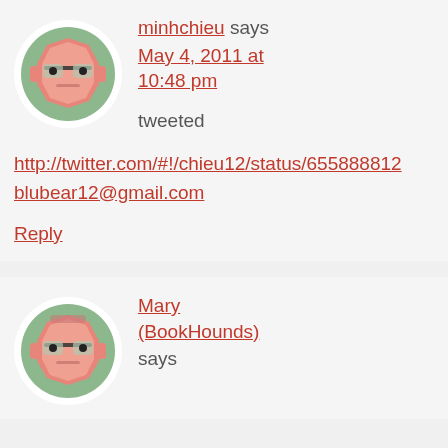[Figure (illustration): Cartoon avatar of a blocky robot/character face with glasses, on a green circular background]
minhchieu says
May 4, 2011 at 10:48 pm
tweeted
http://twitter.com/#!/chieu12/status/655888812...
blubear12@gmail.com
Reply
[Figure (illustration): Cartoon avatar of a blocky robot/character face with glasses, on a green circular background]
Mary (BookHounds) says